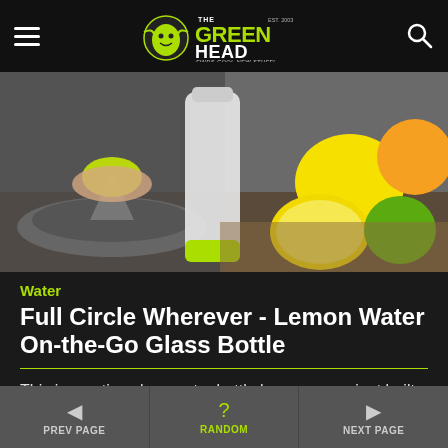The Green Head - Finds Cool New Stuff!
[Figure (photo): A person pressing a lemon on a built-in reamer on a glass water bottle with a yellow-green base; lemons, limes, and an orange visible in the background on a wooden surface.]
Water
Full Circle Wherever - Lemon Water On-the-Go Glass Bottle
This innovative glass water bottle has a convenient built-in reamer that allows you to easily make healthy lemon, lime, orange, grapefruit, and other
PREV PAGE   RANDOM   NEXT PAGE